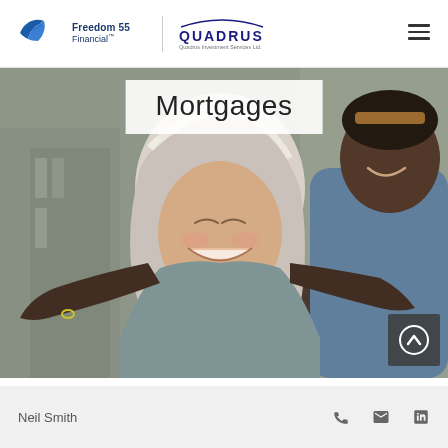Freedom 55 Financial | Quadrus Investment Services Ltd.
Mortgages
[Figure (photo): Happy older couple embracing and smiling outdoors, used as hero image for a Mortgages page on a financial advisor website.]
Neil Smith